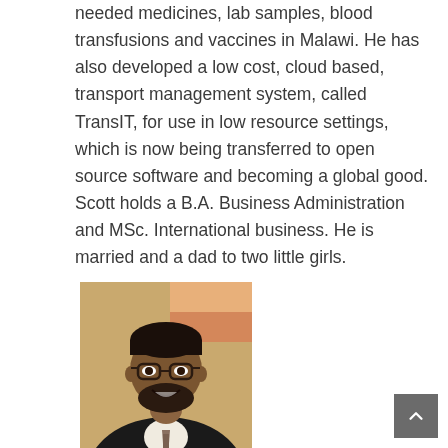needed medicines, lab samples, blood transfusions and vaccines in Malawi. He has also developed a low cost, cloud based, transport management system, called TransIT, for use in low resource settings, which is now being transferred to open source software and becoming a global good. Scott holds a B.A. Business Administration and MSc. International business. He is married and a dad to two little girls.
[Figure (photo): Headshot photo of a man with dark hair, glasses, beard, wearing a dark suit jacket with a patterned tie, smiling, against a warm-colored background.]